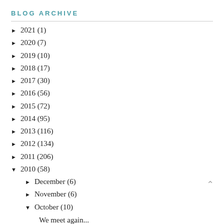BLOG ARCHIVE
► 2021 (1)
► 2020 (7)
► 2019 (10)
► 2018 (17)
► 2017 (30)
► 2016 (56)
► 2015 (72)
► 2014 (95)
► 2013 (116)
► 2012 (134)
► 2011 (206)
▼ 2010 (58)
► December (6)
► November (6)
▼ October (10)
We meet again...
Reasons why our life is awesome.
From a very special little blog I bring you this...